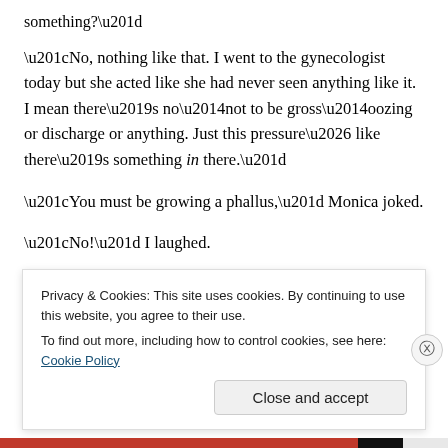“No, nothing like that. I went to the gynecologist today but she acted like she had never seen anything like it. I mean there’s no—not to be gross—oozing or discharge or anything. Just this pressure… like there’s something in there.”
“You must be growing a phallus,” Monica joked.
“No!” I laughed.
“What does it feels like if not a phallus?”
Privacy & Cookies: This site uses cookies. By continuing to use this website, you agree to their use.
To find out more, including how to control cookies, see here: Cookie Policy